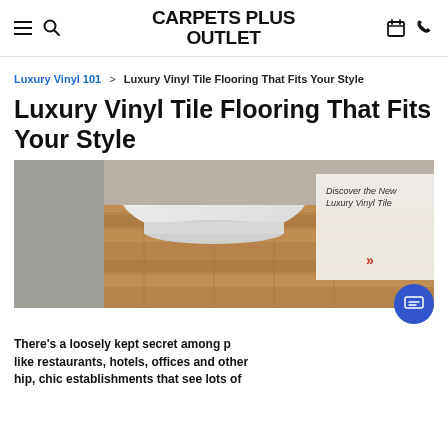CARPETS PLUS OUTLET
Luxury Vinyl 101 > Luxury Vinyl Tile Flooring That Fits Your Style
Luxury Vinyl Tile Flooring That Fits Your Style
[Figure (photo): Photo of a bathroom with a white freestanding bathtub on luxury vinyl tile wood-look flooring. An overlay box on the right reads 'Discover the New Luxury Vinyl Tile' with a red double chevron arrow.]
There's a loosely kept secret among places like restaurants, hotels, offices and other hip, chic establishments that see lots of